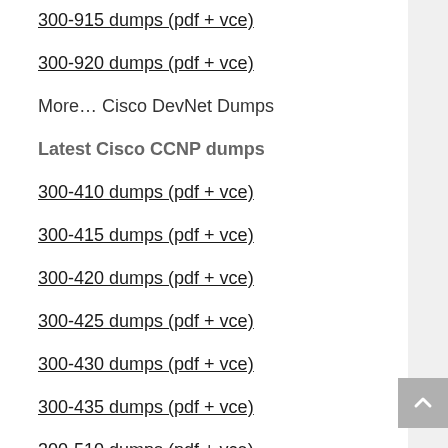300-915 dumps (pdf + vce)
300-920 dumps (pdf + vce)
More… Cisco DevNet Dumps
Latest Cisco CCNP dumps
300-410 dumps (pdf + vce)
300-415 dumps (pdf + vce)
300-420 dumps (pdf + vce)
300-425 dumps (pdf + vce)
300-430 dumps (pdf + vce)
300-435 dumps (pdf + vce)
300-510 dumps (pdf + vce)
300-515 dumps (pdf + vce)